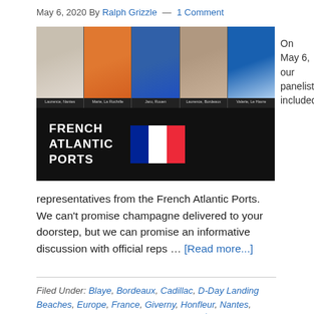May 6, 2020 By Ralph Grizzle — 1 Comment
[Figure (photo): Banner image for French Atlantic Ports webinar showing five panelists (Laurence Nantes, Marie La Rochelle, Jaro Rouen, Laurence Bordeaux, Valerie Le Havre) with French flag and 'French Atlantic Ports' text on dark background]
On May 6, our panelists included representatives from the French Atlantic Ports. We can't promise champagne delivered to your doorstep, but we can promise an informative discussion with official reps … [Read more...]
Filed Under: Blaye, Bordeaux, Cadillac, D-Day Landing Beaches, Europe, France, Giverny, Honfleur, Nantes, Normandy, Paris, Pauillac, Rouen, Saint-Émilion, Saint-